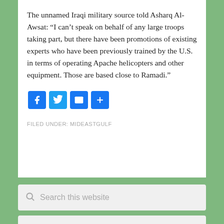The unnamed Iraqi military source told Asharq Al-Awsat: “I can’t speak on behalf of any large troops taking part, but there have been promotions of existing experts who have been previously trained by the U.S. in terms of operating Apache helicopters and other equipment. Those are based close to Ramadi.”
[Figure (other): Social sharing buttons: Facebook (blue F icon), Twitter (blue bird icon), Email (blue envelope icon), Share (blue plus icon)]
FILED UNDER: MIDEASTGULF
[Figure (screenshot): Search box with placeholder text 'Search this website' and a magnifying glass icon]
[Figure (screenshot): Language selector dropdown with 'Select Language' placeholder and chevron icon, followed by 'Powered by Google Translate']